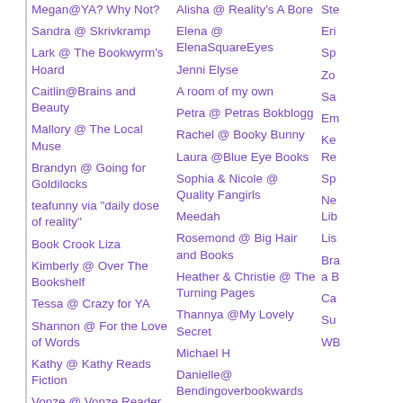Megan@YA? Why Not?
Sandra @ Skrivkramp
Lark @ The Bookwyrm's Hoard
Caitlin@Brains and Beauty
Mallory @ The Local Muse
Brandyn @ Going for Goldilocks
teafunny via "daily dose of reality"
Book Crook Liza
Kimberly @ Over The Bookshelf
Tessa @ Crazy for YA
Shannon @ For the Love of Words
Kathy @ Kathy Reads Fiction
Vonze @ Vonze Reader Blog
Cassi @ My Thoughts Literally
Alisha @ Reality's A Bore
Elena @ ElenaSquareEyes
Jenni Elyse
A room of my own
Petra @ Petras Bokblogg
Rachel @ Booky Bunny
Laura @Blue Eye Books
Sophia & Nicole @ Quality Fangirls
Meedah
Rosemond @ Big Hair and Books
Heather & Christie @ The Turning Pages
Thannya @My Lovely Secret
Michael H
Danielle@ Bendingoverbookwards
Ste
Eri
Sp
Zo
Sa
Em
Ke Re
Sp
Ne Lib
Lis
Bra a B
Ca
Su
WB